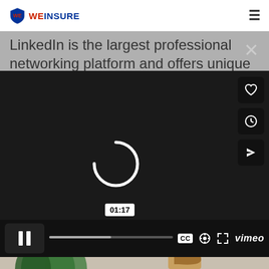WE INSURE
LinkedIn is the largest professional networking platform and offers unique marketing opportunities for agency owners
[Figure (screenshot): Vimeo video player in dark mode showing a loading spinner, pause button, timecode 01:17, progress bar, CC, settings, expand, and Vimeo logo controls. Side buttons include heart, clock, and send icons.]